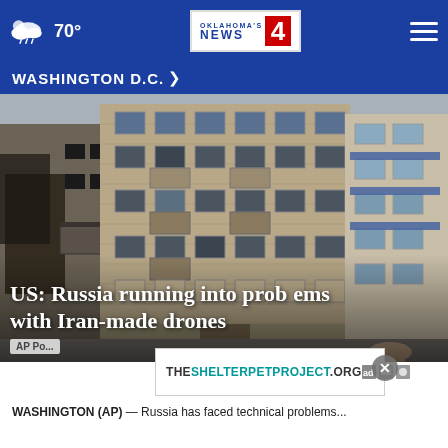70° | Oklahoma's News 4
WASHINGTON D.C. →
[Figure (photo): Damaged multi-story brick apartment building with scorched windows and balconies, typical Soviet-era residential building, with a person visible at bottom right]
US: Russia running into problems with Iran-made drones
AP Po...
[Figure (other): Advertisement banner for THESHELTERPETPROJECT.ORG with ad choice icons]
WASHINGTON (AP) — Russia has faced technical problems...